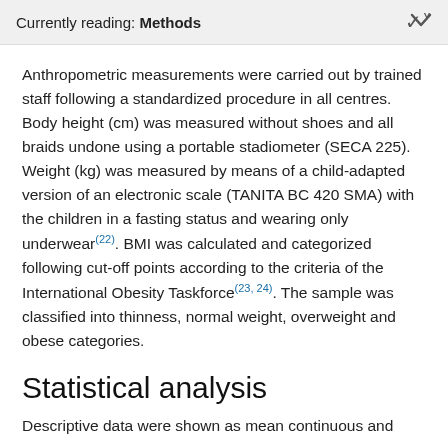Currently reading: Methods
Anthropometric measurements were carried out by trained staff following a standardized procedure in all centres. Body height (cm) was measured without shoes and all braids undone using a portable stadiometer (SECA 225). Weight (kg) was measured by means of a child-adapted version of an electronic scale (TANITA BC 420 SMA) with the children in a fasting status and wearing only underwear(22). BMI was calculated and categorized following cut-off points according to the criteria of the International Obesity Taskforce(23, 24). The sample was classified into thinness, normal weight, overweight and obese categories.
Statistical analysis
Descriptive data were shown as mean continuous and